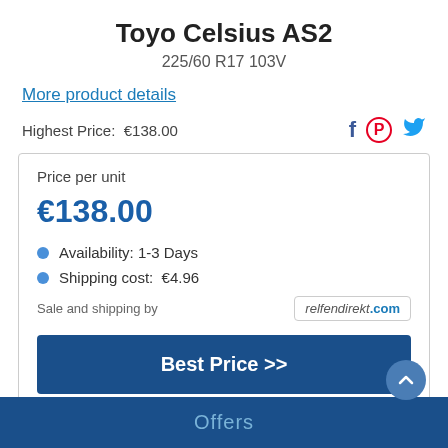Toyo Celsius AS2
225/60 R17 103V
More product details
Highest Price:  €138.00
Price per unit
€138.00
Availability: 1-3 Days
Shipping cost:  €4.96
Sale and shipping by
reifendirekt.com
Best Price >>
Offers